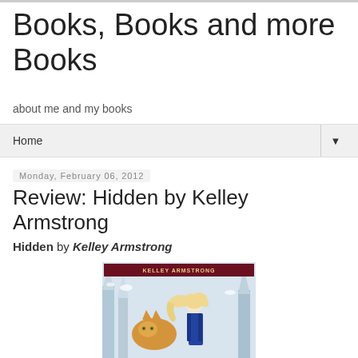Books, Books and more Books
about me and my books
Home
Monday, February 06, 2012
Review: Hidden by Kelley Armstrong
Hidden by Kelley Armstrong
[Figure (illustration): Book cover for 'Hidden' by Kelley Armstrong showing a blonde woman in a blue outfit standing in a snowy forest with a golden wolf at her side. The author's name 'KELLEY ARMSTRONG' appears at the top of the cover.]